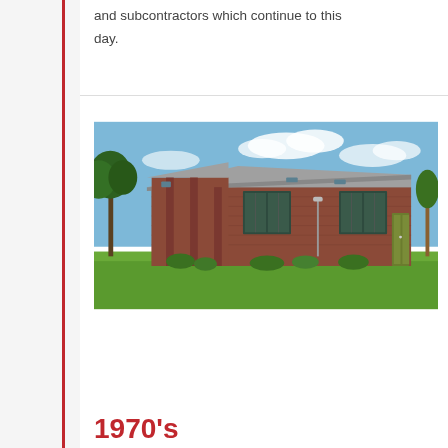and subcontractors which continue to this day.
[Figure (photo): Exterior photograph of a single-story red brick commercial or institutional building with large windows, green double doors, and a sloped roof, surrounded by a green lawn and trees under a blue sky with light clouds.]
1970's